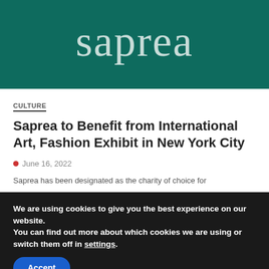[Figure (logo): Saprea logo — white/light teal text 'saprea' on dark teal background]
CULTURE
Saprea to Benefit from International Art, Fashion Exhibit in New York City
June 16, 2022
Saprea has been designated as the charity of choice for
We are using cookies to give you the best experience on our website.
You can find out more about which cookies we are using or switch them off in settings.
Accept